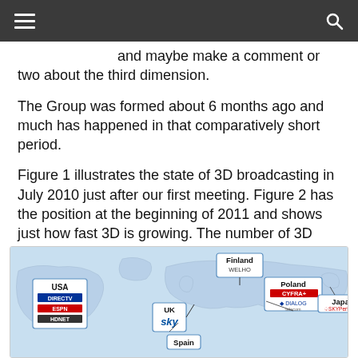and maybe make a comment or two about the third dimension.
The Group was formed about 6 months ago and much has happened in that comparatively short period.
Figure 1 illustrates the state of 3D broadcasting in July 2010 just after our first meeting. Figure 2 has the position at the beginning of 2011 and shows just how fast 3D is growing. The number of 3D channels is still growing but is there enough content and how good is that content and more importantly, how good is the 3D’ness of the content?
[Figure (map): World map showing countries with 3D broadcasting services. Labels include: USA (DirecTV, ESPN, HDNet), Finland (Welho), Poland (Cyfra+, Dialog Telecom), UK (Sky), Spain, Japan (Sky PerfecTV).]